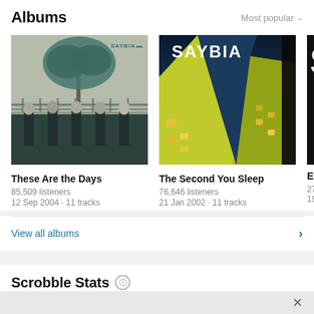Albums
Most popular
[Figure (photo): Album cover for 'These Are the Days' by Saybia: band members standing in front of a fence with a large tree in teal/blue tones]
These Are the Days
85,509 listeners
12 Sep 2004 · 11 tracks
[Figure (photo): Album cover for 'The Second You Sleep' by Saybia: upward angle of a building against a dark blue sky, with 'SAYBIA' text in white]
The Second You Sleep
76,646 listeners
21 Jan 2002 · 11 tracks
[Figure (photo): Partially visible third album cover, black background with partial letter 'S']
Eyes
27,13
19 Au
View all albums
Scrobble Stats